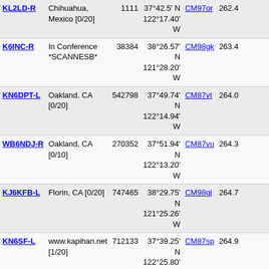| Callsign | Location | ID | Coordinates | Grid | Dist |  |
| --- | --- | --- | --- | --- | --- | --- |
| KL2LD-R | Chihuahua, Mexico [0/20] | 1111 | 37°42.5' N 122°17.40' W | CM97or | 262.4 |  |
| K6INC-R | In Conference *SCANNESB* | 38384 | 38°26.57' N 121°28.20' W | CM98gk | 263.4 |  |
| KN6DPT-L | Oakland, CA [0/20] | 542798 | 37°49.74' N 122°14.94' W | CM87vt | 264.0 |  |
| WB6NDJ-R | Oakland, CA [0/10] | 270352 | 37°51.94' N 122°13.20' W | CM87vu | 264.3 |  |
| KJ6KFB-L | Florin, CA [0/20] | 747465 | 38°29.75' N 121°25.26' W | CM98gl | 264.7 |  |
| KN6SF-L | www.kapihan.net [1/20] | 712133 | 37°39.25' N 122°25.80' W | CM87sp | 264.9 |  |
| K5BLS-L | Nevada, USA [0/5] | 297340 | 39°17.40' N 118°27.60' W | DM09sg | 266.5 |  |
| KK6LOE-L | Sacramento, CA [0/20] | 561891 | 38°39.48' N 121°16.74' W | CM98ip | 269.1 |  |
| KI6RT-L | Granite Bay, CA [0/20] | 780736 | 38°45.78' N 121°09.90' W | CM98ks | 271.7 |  |
| KP4MD-L | Citrus Heights, | 269663 | 38°40.80' N | CM98iq | 272.0 | 438.50 |